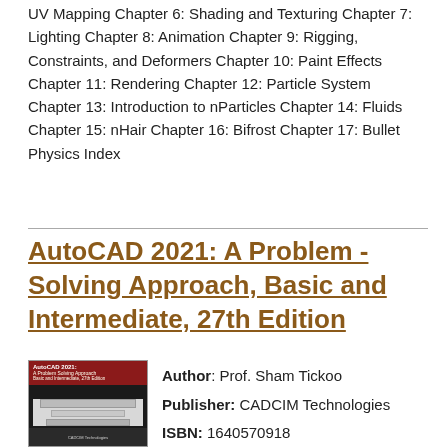UV Mapping Chapter 6: Shading and Texturing Chapter 7: Lighting Chapter 8: Animation Chapter 9: Rigging, Constraints, and Deformers Chapter 10: Paint Effects Chapter 11: Rendering Chapter 12: Particle System Chapter 13: Introduction to nParticles Chapter 14: Fluids Chapter 15: nHair Chapter 16: Bifrost Chapter 17: Bullet Physics Index
AutoCAD 2021: A Problem - Solving Approach, Basic and Intermediate, 27th Edition
[Figure (photo): Book cover of AutoCAD 2021: A Problem Solving Approach, Basic and Intermediate, 27th Edition]
Author: Prof. Sham Tickoo
Publisher: CADCIM Technologies
ISBN: 1640570918
Category: Computers